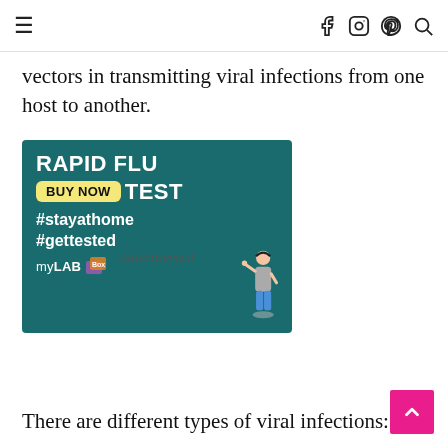≡  [navigation icons: facebook, instagram, pinterest, search]
vectors in transmitting viral infections from one host to another.
[Figure (photo): Advertisement banner for myLAB Box Rapid Flu Test. Teal background with bold white text reading 'RAPID FLU TEST', a yellow button saying 'BUY NOW', hashtags '#stayathome #gettested', the myLAB Box logo, and an illustration of a sick person.]
Advertisement
There are different types of viral infections: